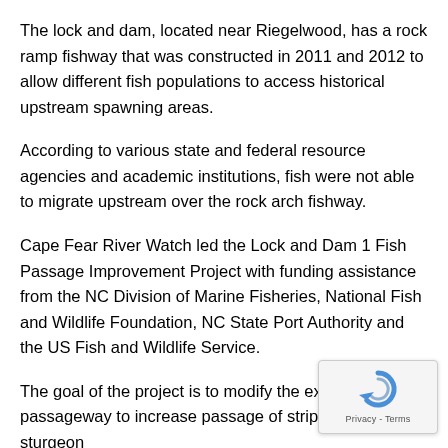The lock and dam, located near Riegelwood, has a rock ramp fishway that was constructed in 2011 and 2012 to allow different fish populations to access historical upstream spawning areas.
According to various state and federal resource agencies and academic institutions, fish were not able to migrate upstream over the rock arch fishway.
Cape Fear River Watch led the Lock and Dam 1 Fish Passage Improvement Project with funding assistance from the NC Division of Marine Fisheries, National Fish and Wildlife Foundation, NC State Port Authority and the US Fish and Wildlife Service.
The goal of the project is to modify the existing fish passageway to increase passage of striped bass and sturgeon
[Figure (other): reCAPTCHA privacy overlay widget in the bottom-right corner showing a circular arrow icon and 'Privacy - Terms' label]